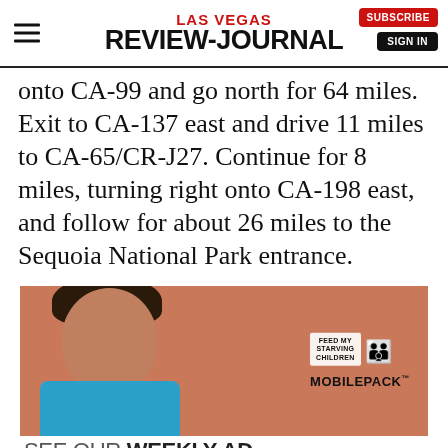Las Vegas Review-Journal
onto CA-99 and go north for 64 miles. Exit to CA-137 east and drive 11 miles to CA-65/CR-J27. Continue for 8 miles, turning right onto CA-198 east, and follow for about 26 miles to the Sequoia National Park entrance.
[Figure (photo): Advertisement photo: child's face on salmon/terracotta background with Feed My Starving Children MOBILEPACK logo]
[Figure (infographic): Best Buy advertisement: SEE OUR WEEKLY AD for Great Deals at Best Buy® with SHOP NOW button and Best Buy logo]